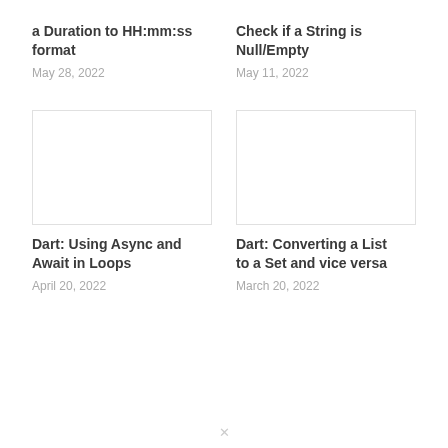a Duration to HH:mm:ss format
May 28, 2022
Check if a String is Null/Empty
May 11, 2022
[Figure (other): Blank placeholder image for article]
Dart: Using Async and Await in Loops
April 20, 2022
[Figure (other): Blank placeholder image for article]
Dart: Converting a List to a Set and vice versa
March 20, 2022